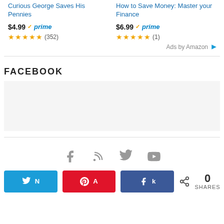Curious George Saves His Pennies
$4.99 ✓prime ★★★★★ (352)
How to Save Money: Master your Finance
$6.99 ✓prime ★★★★★ (1)
Ads by Amazon
FACEBOOK
[Figure (infographic): Social media share buttons: Twitter (N), Pinterest (A), Facebook (f), and share count showing 0 SHARES. Social icons row above: Facebook, RSS, Twitter, YouTube.]